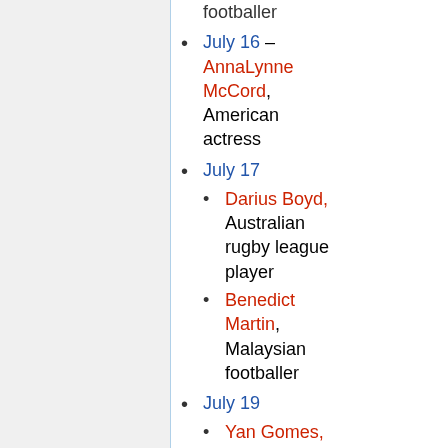footballer (continuation from previous)
July 16 – AnnaLynne McCord, American actress
July 17
Darius Boyd, Australian rugby league player
Benedict Martin, Malaysian footballer
July 19
Yan Gomes, Brazilian baseball